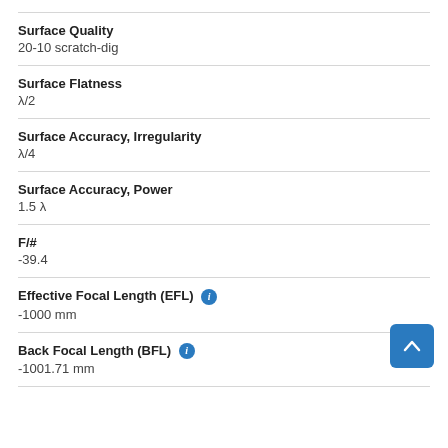Surface Quality
20-10 scratch-dig
Surface Flatness
λ/2
Surface Accuracy, Irregularity
λ/4
Surface Accuracy, Power
1.5 λ
F/#
-39.4
Effective Focal Length (EFL)
-1000 mm
Back Focal Length (BFL)
-1001.71 mm